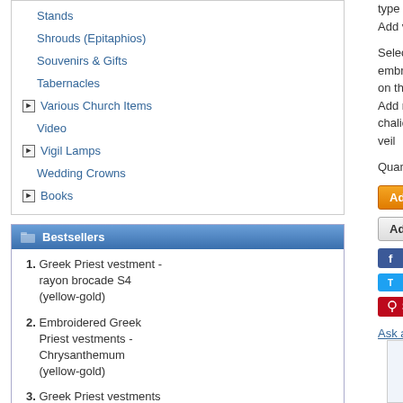Stands
Shrouds (Epitaphios)
Souvenirs & Gifts
Tabernacles
Various Church Items
Video
Vigil Lamps
Wedding Crowns
Books
Bestsellers
1. Greek Priest vestment - rayon brocade S4 (yellow-gold)
2. Embroidered Greek Priest vestments - Chrysanthemum (yellow-gold)
3. Greek Priest vestments - Apostle Tree gold
4. Greek Priest vestments - Christ the Archpriest - gold
type
Add v
Select embroidery on the
Add more chalice veil
Quantity
Ad
Ad
Ask a
Send to friend	Customers also bought